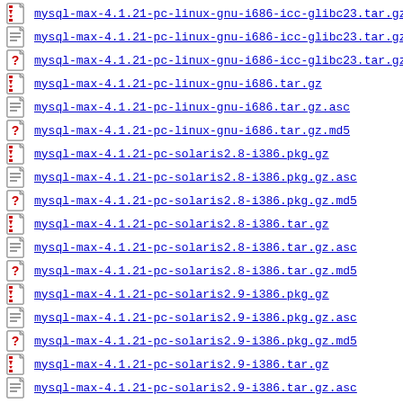mysql-max-4.1.21-pc-linux-gnu-i686-icc-glibc23.tar.gz (binary)
mysql-max-4.1.21-pc-linux-gnu-i686-icc-glibc23.tar.gz (text)
mysql-max-4.1.21-pc-linux-gnu-i686-icc-glibc23.tar.gz (unknown)
mysql-max-4.1.21-pc-linux-gnu-i686.tar.gz
mysql-max-4.1.21-pc-linux-gnu-i686.tar.gz.asc
mysql-max-4.1.21-pc-linux-gnu-i686.tar.gz.md5
mysql-max-4.1.21-pc-solaris2.8-i386.pkg.gz
mysql-max-4.1.21-pc-solaris2.8-i386.pkg.gz.asc
mysql-max-4.1.21-pc-solaris2.8-i386.pkg.gz.md5
mysql-max-4.1.21-pc-solaris2.8-i386.tar.gz
mysql-max-4.1.21-pc-solaris2.8-i386.tar.gz.asc
mysql-max-4.1.21-pc-solaris2.8-i386.tar.gz.md5
mysql-max-4.1.21-pc-solaris2.9-i386.pkg.gz
mysql-max-4.1.21-pc-solaris2.9-i386.pkg.gz.asc
mysql-max-4.1.21-pc-solaris2.9-i386.pkg.gz.md5
mysql-max-4.1.21-pc-solaris2.9-i386.tar.gz
mysql-max-4.1.21-pc-solaris2.9-i386.tar.gz.asc